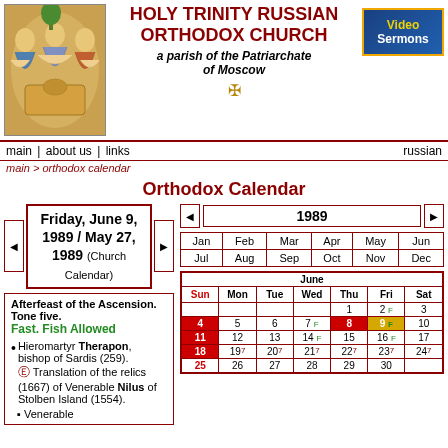[Figure (illustration): Orthodox icon of the Holy Trinity (Rublev style), three angels at a table]
HOLY TRINITY RUSSIAN ORTHODOX CHURCH
a parish of the Patriarchate of Moscow
[Figure (illustration): Video Sermons button/logo]
main | about us | links    russian
main > orthodox calendar
Orthodox Calendar
Friday, June 9, 1989 / May 27, 1989 (Church Calendar)
1989
Afterfeast of the Ascension. Tone five.
Fast. Fish Allowed
Hieromartyr Therapon, bishop of Sardis (259). Translation of the relics (1667) of Venerable Nilus of Stolben Island (1554).
Venerable
| Jan | Feb | Mar | Apr | May | Jun | Jul | Aug | Sep | Oct | Nov | Dec |
| --- | --- | --- | --- | --- | --- | --- | --- | --- | --- | --- | --- |
| Jan | Feb | Mar | Apr | May | Jun |
| Jul | Aug | Sep | Oct | Nov | Dec |
| Sun | Mon | Tue | Wed | Thu | Fri | Sat |
| --- | --- | --- | --- | --- | --- | --- |
|  |  |  |  | 1 | 2 F | 3 |
| 4 | 5 | 6 | 7 F | 8 | 9 F | 10 |
| 11 | 12 | 13 | 14 F | 15 | 16 F | 17 |
| 18 | 19 7 | 20 7 | 21 7 | 22 7 | 23 7 | 24 7 |
| 25 | 26 | 27 | 28 | 29 | 30 |  |